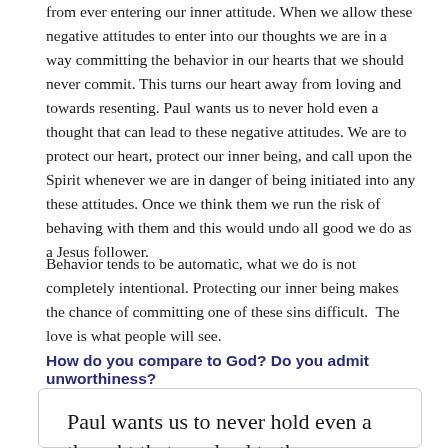from ever entering our inner attitude. When we allow these negative attitudes to enter into our thoughts we are in a way committing the behavior in our hearts that we should never commit. This turns our heart away from loving and towards resenting. Paul wants us to never hold even a thought that can lead to these negative attitudes. We are to protect our heart, protect our inner being, and call upon the Spirit whenever we are in danger of being initiated into any these attitudes. Once we think them we run the risk of behaving with them and this would undo all good we do as a Jesus follower.
Behavior tends to be automatic, what we do is not completely intentional. Protecting our inner being makes the chance of committing one of these sins difficult.  The love is what people will see.
How do you compare to God? Do you admit unworthiness?
Paul wants us to never hold even a thought that can lead to these